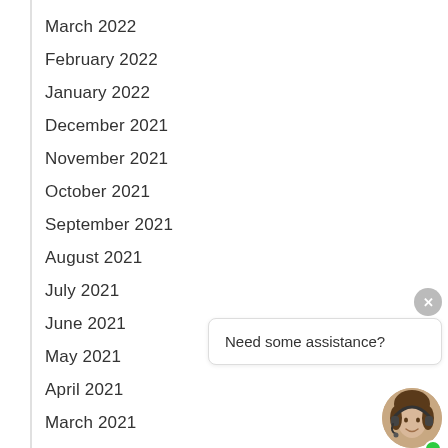March 2022
February 2022
January 2022
December 2021
November 2021
October 2021
September 2021
August 2021
July 2021
June 2021
May 2021
April 2021
March 2021
February 2021
January 2021
[Figure (illustration): Chat widget with close button, speech bubble saying 'Need some assistance?', and a customer service representative avatar with headset and green online dot]